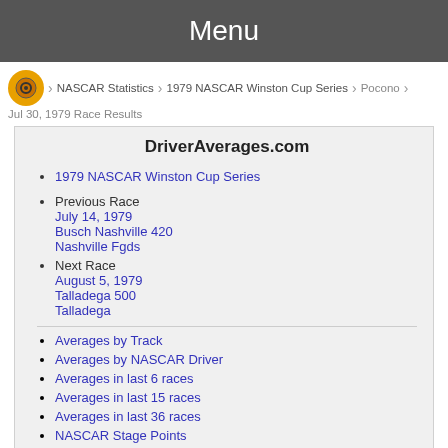Menu
NASCAR Statistics › 1979 NASCAR Winston Cup Series › Pocono
Jul 30, 1979 Race Results
DriverAverages.com
1979 NASCAR Winston Cup Series
Previous Race
July 14, 1979
Busch Nashville 420
Nashville Fgds
Next Race
August 5, 1979
Talladega 500
Talladega
Averages by Track
Averages by NASCAR Driver
Averages in last 6 races
Averages in last 15 races
Averages in last 36 races
NASCAR Stage Points
NASCAR Averages Database